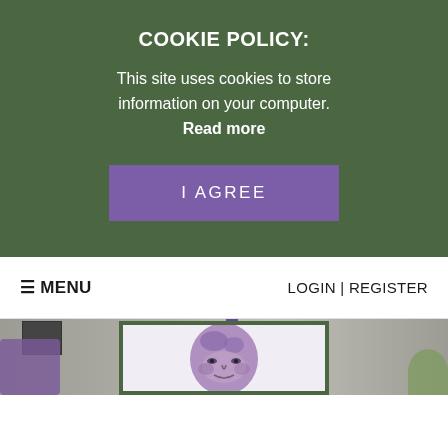COOKIE POLICY:
This site uses cookies to store information on your computer. Read more
I AGREE
☰ MENU    LOGIN | REGISTER
[Figure (illustration): Illustrated purple-toned face/head of a person, partially cropped, inside a green-bordered frame, overlaid on a blurred living room background scene]